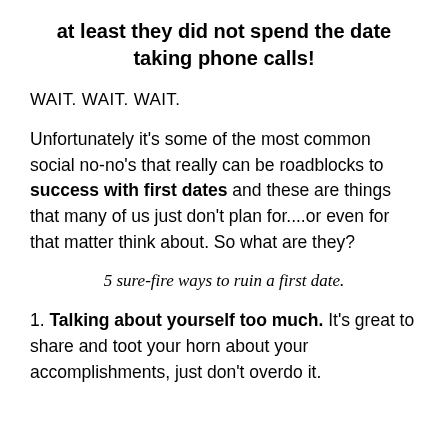at least they did not spend the date taking phone calls!
WAIT. WAIT. WAIT.
Unfortunately it’s some of the most common social no-no’s that really can be roadblocks to success with first dates and these are things that many of us just don’t plan for....or even for that matter think about. So what are they?
5 sure-fire ways to ruin a first date.
1. Talking about yourself too much. It’s great to share and toot your horn about your accomplishments, just don’t overdo it.